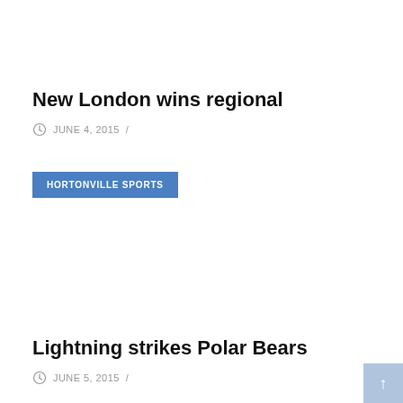New London wins regional
JUNE 4, 2015  /
HORTONVILLE SPORTS
Lightning strikes Polar Bears
JUNE 5, 2015  /